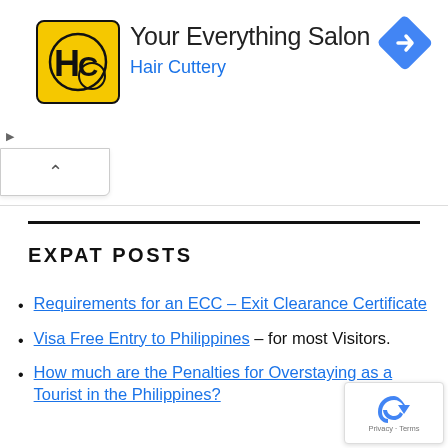[Figure (other): Hair Cuttery advertisement banner with yellow HC logo, title 'Your Everything Salon', subtitle 'Hair Cuttery', and a blue navigation/directions diamond icon in the top right. Small play and close controls on the left.]
EXPAT POSTS
Requirements for an ECC – Exit Clearance Certificate
Visa Free Entry to Philippines – for most Visitors.
How much are the Penalties for Overstaying as a Tourist in the Philippines?